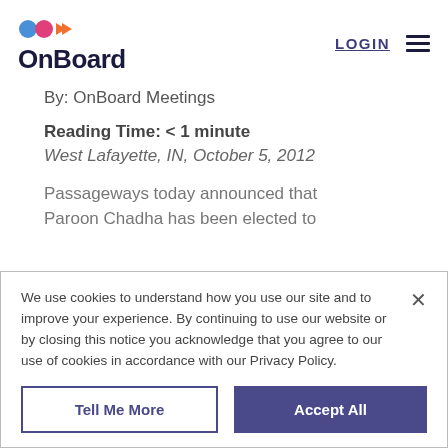[Figure (logo): OnBoard logo with colorful icon (blue circle, pink circle, orange arrows) above the text 'OnBoard' in dark navy bold font]
LOGIN
By: OnBoard Meetings
Reading Time: < 1 minute
West Lafayette, IN, October 5, 2012
Passageways today announced that Paroon Chadha has been elected to
We use cookies to understand how you use our site and to improve your experience. By continuing to use our website or by closing this notice you acknowledge that you agree to our use of cookies in accordance with our Privacy Policy.
Tell Me More
Accept All